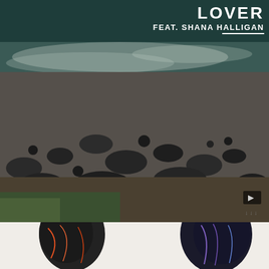LOVER
FEAT. SHANA HALLIGAN
[Figure (photo): Aerial or close-up landscape photograph showing rocky coastline with dark stones, sea foam, and teal-green water with a halftone/grainy texture overlay]
[Figure (photo): Bottom portion showing two figures in colorful illustrated/artistic style against white background — appear to be musicians or performers with decorative patterns]